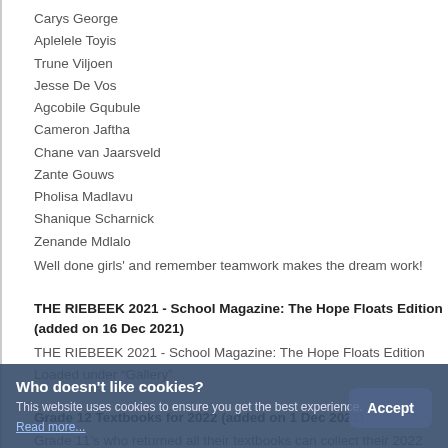Carys George
Aplelele Toyis
Trune Viljoen
Jesse De Vos
Agcobile Gqubule
Cameron Jaftha
Chane van Jaarsveld
Zante Gouws
Pholisa Madlavu
Shanique Scharnick
Zenande Mdlalo
Well done girls' and remember teamwork makes the dream work!
THE RIEBEEK 2021 - School Magazine: The Hope Floats Edition (added on 16 Dec 2021)
THE RIEBEEK 2021 - School Magazine: The Hope Floats Edition
Loaded under "Gallery"
Grade 12 Textbooks for 2022 (added on 1 Dec 2021)
Grade 11's who returned all their textbooks can collect their 2022 textbooks on Thursday at 9:30. The normal screening process will be followed.
Quarterly General Meeting - 2022 Budget (added on 18 Nov 2021)
The Quarterly General Meeting to which the 2022 Budget will be discussed...